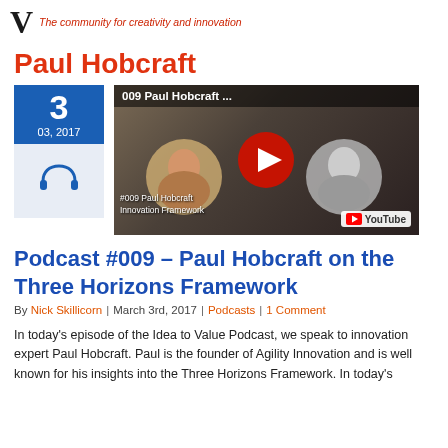V – The community for creativity and innovation
Paul Hobcraft
[Figure (other): Date block showing '3 / 03, 2017' in blue and headphone icon below, alongside a YouTube video thumbnail for '009 Paul Hobcraft ...' with two circular portraits and YouTube play button overlay]
Podcast #009 – Paul Hobcraft on the Three Horizons Framework
By Nick Skillicorn | March 3rd, 2017 | Podcasts | 1 Comment
In today's episode of the Idea to Value Podcast, we speak to innovation expert Paul Hobcraft. Paul is the founder of Agility Innovation and is well known for his insights into the Three Horizons Framework. In today's episode, he talks about Why organisations and organisations